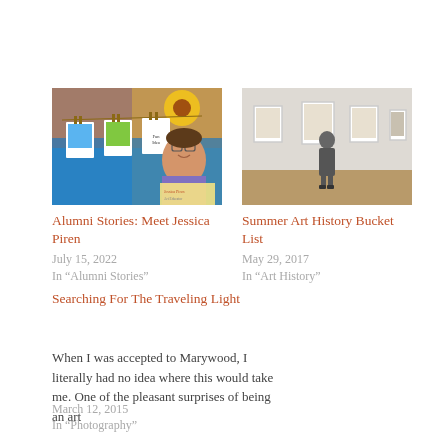[Figure (photo): Colorful photo of Jessica Piren, art educator, with artwork displayed on clothesline behind her]
Alumni Stories: Meet Jessica Piren
July 15, 2022
In "Alumni Stories"
[Figure (photo): Person standing in an art gallery viewing framed artworks on white walls]
Summer Art History Bucket List
May 29, 2017
In "Art History"
Searching For The Traveling Light
When I was accepted to Marywood, I literally had no idea where this would take me. One of the pleasant surprises of being an art
March 12, 2015
In "Photography"